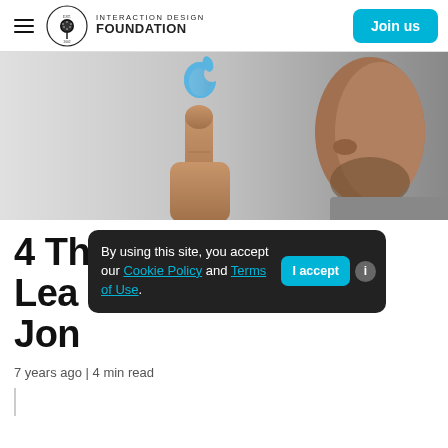INTERACTION DESIGN FOUNDATION | Join us
[Figure (photo): Close-up photo of a man pointing his index finger upward toward a blue Apple logo, shown in profile view against a light grey background.]
4 Things that We've Learned from Jon
By using this site, you accept our Cookie Policy and Terms of Use.
7 years ago | 4 min read